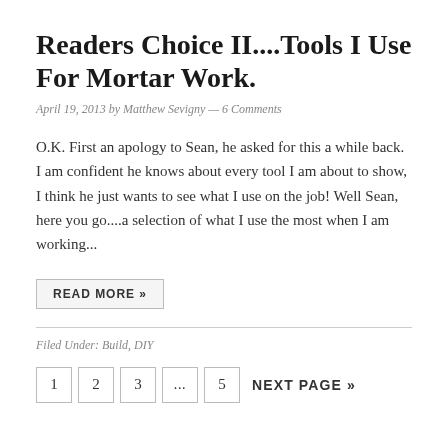Readers Choice II....Tools I Use For Mortar Work.
April 19, 2013 by Matthew Sevigny — 6 Comments
O.K.  First an apology to Sean, he asked for this a while back.  I am confident he knows about every tool I am about to show, I think he just wants to see what I use on the job!  Well Sean, here you go....a selection of what I use the most when I am working...
READ MORE »
Filed Under: Build, DIY
1  2  3  ...  5  NEXT PAGE »